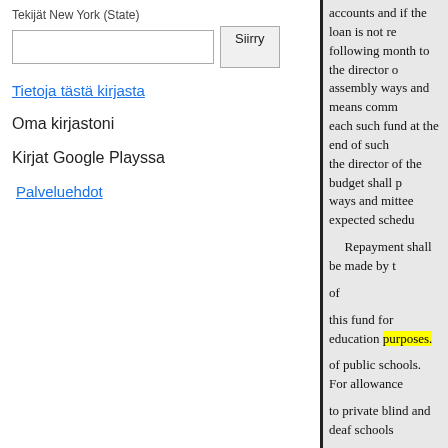Tekijät New York (State)
Siirry
Tietoja tästä kirjasta
Oma kirjastoni
Kirjat Google Playssa
Palveluehdot
accounts and if the loan is not re following month to the director o assembly ways and means comm each such fund at the end of such the director of the budget shall p ways and mittee expected schedu
Repayment shall be made by t
of
this fund for education purposes.
of public schools. For allowance
to private blind and deaf schools
COM
an